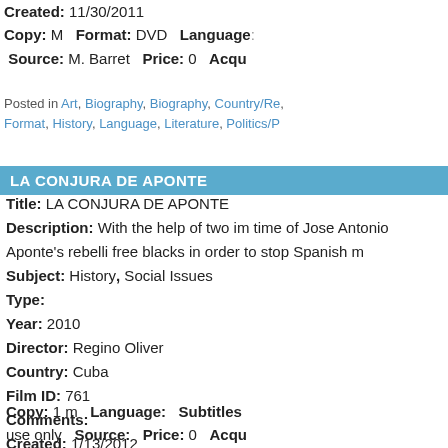Created: 11/30/2011
Copy: M   Format: DVD   Language:
Source: M. Barret   Price: 0   Acqu
Posted in Art, Biography, Biography, Country/Re Format, History, Language, Literature, Politics/P
LA CONJURA DE APONTE
Title: LA CONJURA DE APONTE
Description: With the help of two im time of Jose Antonio Aponte's rebelli free blacks in order to stop Spanish m
Subject: History, Social Issues
Type:
Year: 2010
Director: Regino Oliver
Country: Cuba
Film ID: 761
Comments:
Created: 1/13/2012
Copy: 1 m   Language:   Subtitles
use only   Source:   Price: 0   Acqu